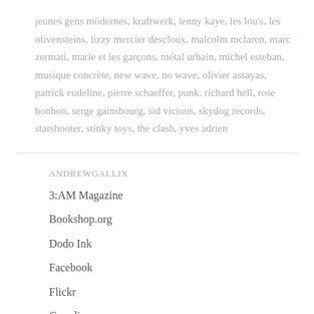jeunes gens mödernes, kraftwerk, lenny kaye, les lou's, les olivensteins, lizzy mercier descloux, malcolm mclaren, marc zermati, marie et les garçons, métal urbain, michel esteban, musique concrète, new wave, no wave, olivier assayas, patrick eudeline, pierre schaeffer, punk, richard hell, rose bonbon, serge gainsbourg, sid vicious, skydog records, starshooter, stinky toys, the clash, yves adrien
ANDREWGALLIX
3:AM Magazine
Bookshop.org
Dodo Ink
Facebook
Flickr
Guardian
Instagram